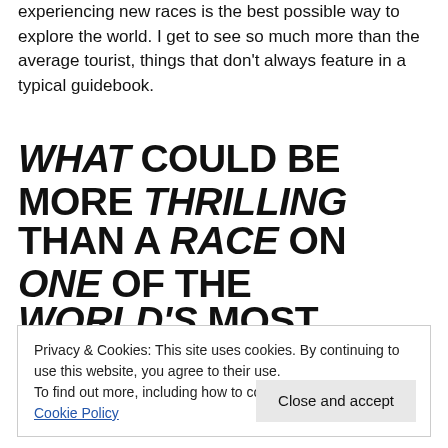experiencing new races is the best possible way to explore the world. I get to see so much more than the average tourist, things that don't always feature in a typical guidebook.
WHAT COULD BE MORE THRILLING
THAN A RACE ON ONE OF THE
WORLD'S MOST FAMOUS
Privacy & Cookies: This site uses cookies. By continuing to use this website, you agree to their use.
To find out more, including how to control cookies, see here: Cookie Policy